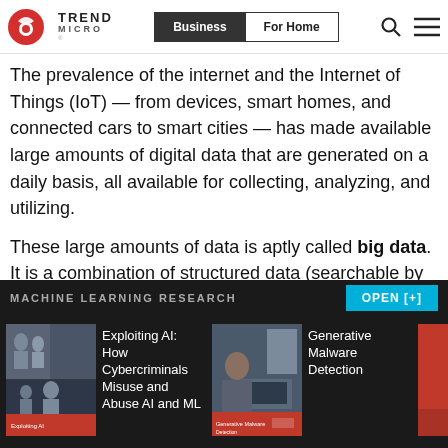Trend Micro | Business | For Home
The prevalence of the internet and the Internet of Things (IoT) — from devices, smart homes, and connected cars to smart cities — has made available large amounts of digital data that are generated on a daily basis, all available for collecting, analyzing, and utilizing.
These large amounts of data is aptly called big data. It is a combination of structured data (searchable by algorithms and databases) and unstructured data (the data not available in a structured...
MACHINE LEARNING RESEARCH   OPEN [+]
[Figure (photo): Book cover image: Exploiting AI: How Cybercriminals Misuse and Abuse AI and ML]
Exploiting AI: How Cybercriminals Misuse and Abuse AI and ML
[Figure (photo): Book cover image: Generative Malware Detection]
Generative Malware Detection